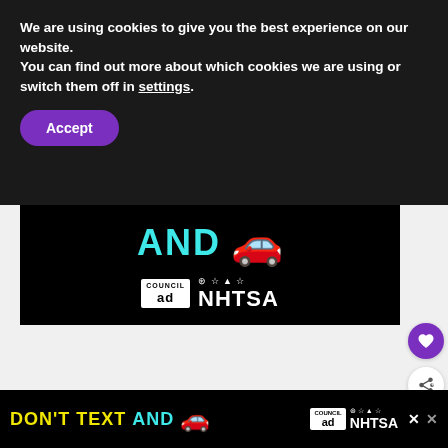We are using cookies to give you the best experience on our website.
You can find out more about which cookies we are using or switch them off in settings.
Accept
[Figure (screenshot): Advertisement banner showing 'AND' text in cyan and a red car emoji on black background, with Ad Council and NHTSA logos.]
[Figure (infographic): Purple circular heart/favorite button on the right side.]
[Figure (infographic): White circular share button with share icon on the right side.]
WHAT'S NEXT → How To Create Easy Video...
With smartphones in hand and digital cameras
[Figure (screenshot): Bottom advertisement banner: DON'T TEXT AND [red car emoji] with Ad Council and NHTSA logos and close buttons.]